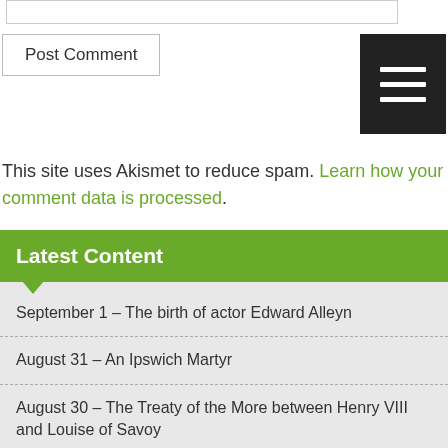Post Comment
This site uses Akismet to reduce spam. Learn how your comment data is processed.
Latest Content
September 1 – The birth of actor Edward Alleyn
August 31 – An Ipswich Martyr
August 30 – The Treaty of the More between Henry VIII and Louise of Savoy
August 29 – The Feast of the Beheading of St John the Baptist
The Reign of King Henry VII Crossword Puzzle